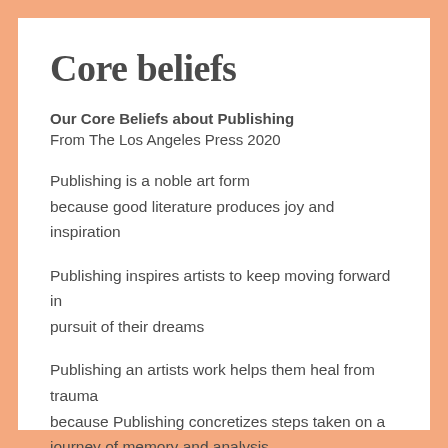Core beliefs
Our Core Beliefs about Publishing
From The Los Angeles Press 2020
Publishing is a noble art form because good literature produces joy and inspiration
Publishing inspires artists to keep moving forward in pursuit of their dreams
Publishing an artists work helps them heal from trauma because Publishing concretizes steps taken on a journey of memory and analysis